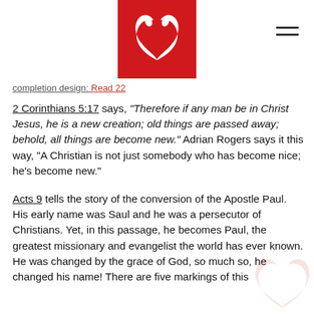[Figure (logo): Red square logo with white stylized serpent/heart icon]
completion design: ...
2 Corinthians 5:17 says, "Therefore if any man be in Christ Jesus, he is a new creation; old things are passed away; behold, all things are become new." Adrian Rogers says it this way, "A Christian is not just somebody who has become nice; he's become new."
Acts 9 tells the story of the conversion of the Apostle Paul. His early name was Saul and he was a persecutor of Christians. Yet, in this passage, he becomes Paul, the greatest missionary and evangelist the world has ever known. He was changed by the grace of God, so much so, he changed his name! There are five markings of this